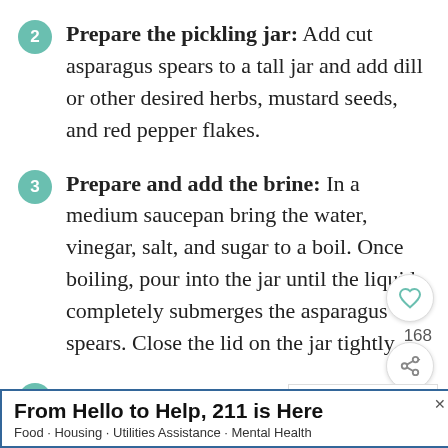2 Prepare the pickling jar: Add cut asparagus spears to a tall jar and add dill or other desired herbs, mustard seeds, and red pepper flakes.
3 Prepare and add the brine: In a medium saucepan bring the water, vinegar, salt, and sugar to a boil. Once boiling, pour into the jar until the liquid completely submerges the asparagus spears. Close the lid on the jar tightly.
4 Pickling instructions: Let the jar the counter until it reaches room
168
[Figure (photo): Thumbnail image of a jar with green vegetables, labeled as What's Next with text No Cook Refrigerator...]
WHAT'S NEXT → No Cook Refrigerator...
From Hello to Help, 211 is Here
Food · Housing · Utilities Assistance · Mental Health